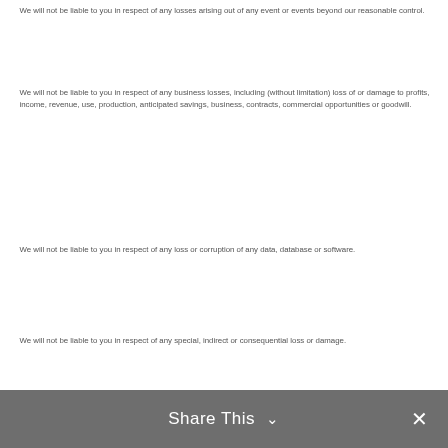We will not be liable to you in respect of any losses arising out of any event or events beyond our reasonable control.
We will not be liable to you in respect of any business losses, including (without limitation) loss of or damage to profits, income, revenue, use, production, anticipated savings, business, contracts, commercial opportunities or goodwill.
We will not be liable to you in respect of any loss or corruption of any data, database or software.
We will not be liable to you in respect of any special, indirect or consequential loss or damage.
Share This ∨  ✕